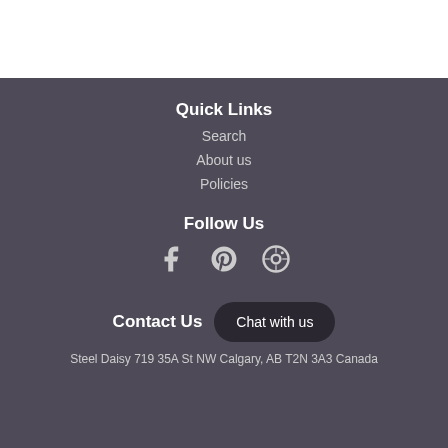Quick Links
Search
About us
Policies
Follow Us
[Figure (illustration): Social media icons: Facebook, Pinterest, Instagram]
Contact Us
Chat with us
Steel Daisy 719 35A St NW Calgary, AB T2N 3A3 Canada